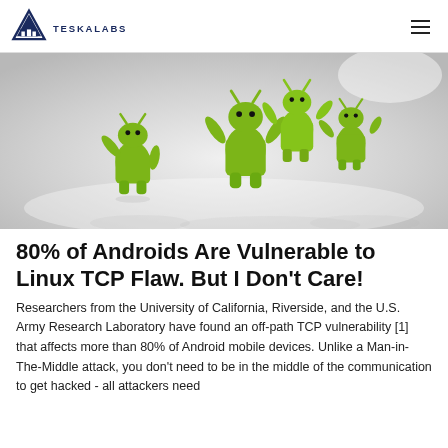TESKALABS
[Figure (photo): Group of green Android robot figurines on a white reflective surface, posed as if celebrating or raising hands]
80% of Androids Are Vulnerable to Linux TCP Flaw. But I Don't Care!
Researchers from the University of California, Riverside, and the U.S. Army Research Laboratory have found an off-path TCP vulnerability [1] that affects more than 80% of Android mobile devices. Unlike a Man-in-The-Middle attack, you don't need to be in the middle of the communication to get hacked - all attackers need